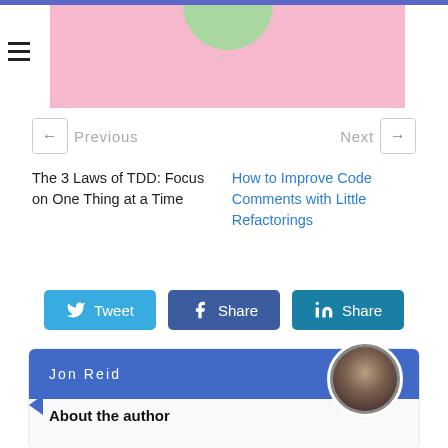[Figure (illustration): Pink banner image with green circular element at top, website navigation hamburger menu icon on left]
← Previous | Next →
The 3 Laws of TDD: Focus on One Thing at a Time
How to Improve Code Comments with Little Refactorings
Tweet | Share | Share
Jon Reid
About the author